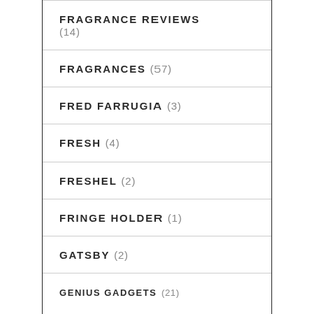FRAGRANCE REVIEWS (14)
FRAGRANCES (57)
FRED FARRUGIA (3)
FRESH (4)
FRESHEL (2)
FRINGE HOLDER (1)
GATSBY (2)
GENIUS GADGETS (21)